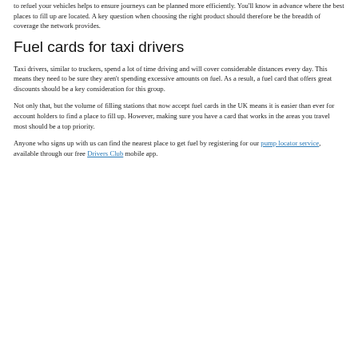to refuel your vehicles helps to ensure journeys can be planned more efficiently. You'll know in advance where the best places to fill up are located. A key question when choosing the right product should therefore be the breadth of coverage the network provides.
Fuel cards for taxi drivers
Taxi drivers, similar to truckers, spend a lot of time driving and will cover considerable distances every day. This means they need to be sure they aren't spending excessive amounts on fuel. As a result, a fuel card that offers great discounts should be a key consideration for this group.
Not only that, but the volume of filling stations that now accept fuel cards in the UK means it is easier than ever for account holders to find a place to fill up. However, making sure you have a card that works in the areas you travel most should be a top priority.
Anyone who signs up with us can find the nearest place to get fuel by registering for our pump locator service, available through our free Drivers Club mobile app.